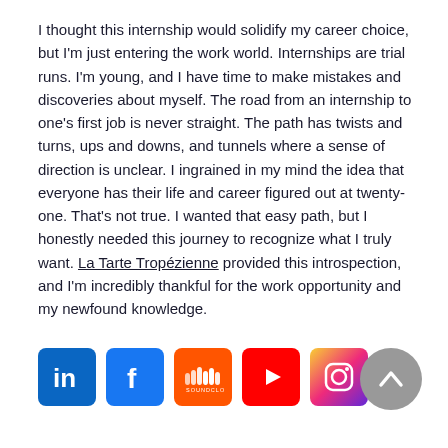I thought this internship would solidify my career choice, but I'm just entering the work world. Internships are trial runs. I'm young, and I have time to make mistakes and discoveries about myself. The road from an internship to one's first job is never straight. The path has twists and turns, ups and downs, and tunnels where a sense of direction is unclear. I ingrained in my mind the idea that everyone has their life and career figured out at twenty-one. That's not true. I wanted that easy path, but I honestly needed this journey to recognize what I truly want. La Tarte Tropézienne provided this introspection, and I'm incredibly thankful for the work opportunity and my newfound knowledge.
[Figure (illustration): Social media icons row: LinkedIn, Facebook, SoundCloud, YouTube, Instagram. Scroll-to-top button on the right.]